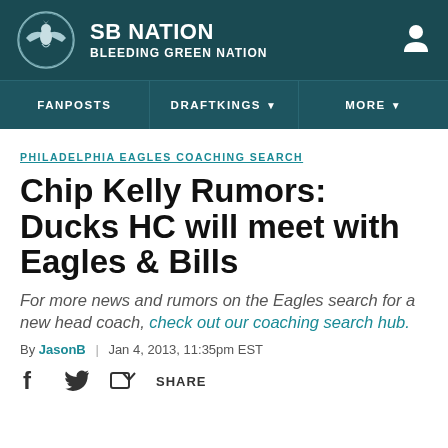SB NATION | BLEEDING GREEN NATION
PHILADELPHIA EAGLES COACHING SEARCH
Chip Kelly Rumors: Ducks HC will meet with Eagles & Bills
For more news and rumors on the Eagles search for a new head coach, check out our coaching search hub.
By JasonB | Jan 4, 2013, 11:35pm EST